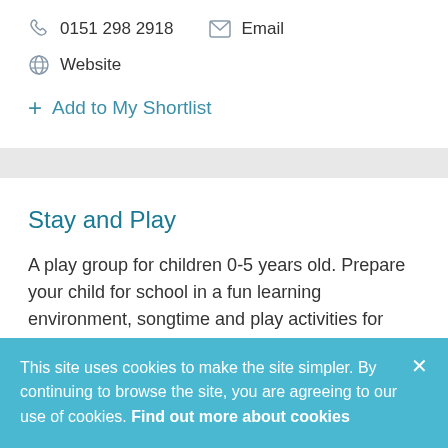0151 298 2918   Email
Website
+ Add to My Shortlist
Stay and Play
A play group for children 0-5 years old. Prepare your child for school in a fun learning environment, songtime and play activities for your child to support their
This site uses cookies to make the site simpler. By continuing to browse the site, you are agreeing to our use of cookies. Find out more about cookies